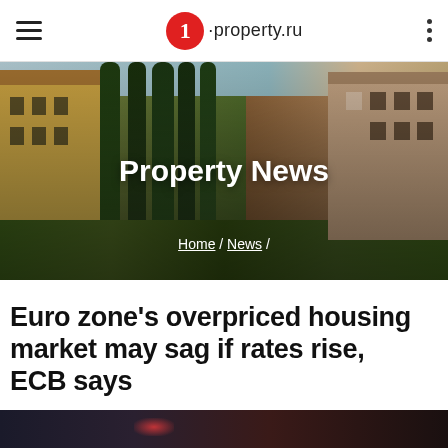1-property.ru
[Figure (photo): Hero banner showing European-style buildings with tall cypress trees and lush gardens. Overlaid with 'Property News' title and breadcrumb navigation showing Home / News /]
Euro zone's overpriced housing market may sag if rates rise, ECB says
[Figure (photo): Bottom strip showing a dark nighttime street scene]